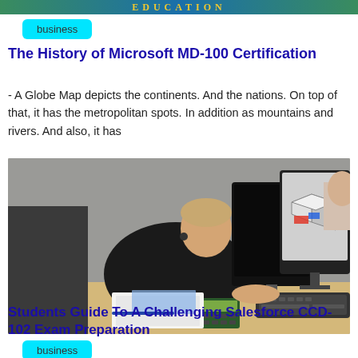EDUCATION
business
The History of Microsoft MD-100 Certification
- A Globe Map depicts the continents. And the nations. On top of that, it has the metropolitan spots. In addition as mountains and rivers. And also, it has
[Figure (photo): A student in a black shirt sitting at a computer workstation with multiple monitors, using a keyboard. One monitor displays a 3D CAD model. A calculator and papers are on the desk.]
business
Students Guide To A Challenging Salesforce CCD-102 Exam Preparation